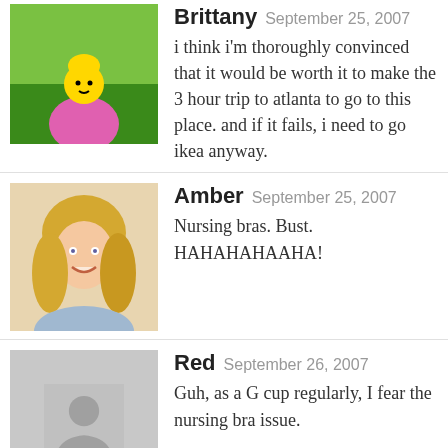Brittany September 25, 2007 — i think i'm thoroughly convinced that it would be worth it to make the 3 hour trip to atlanta to go to this place. and if it fails, i need to go ikea anyway.
Amber September 25, 2007 — Nursing bras. Bust. HAHAHAHAAHA!
Red September 26, 2007 — Guh, as a G cup regularly, I fear the nursing bra issue.
Binkytown September 26, 2007 — OMG I love bra shopping. I say this all over blogs everywhere, a fancy expensive bra is SO WORTH IT. Makes you feel like a new